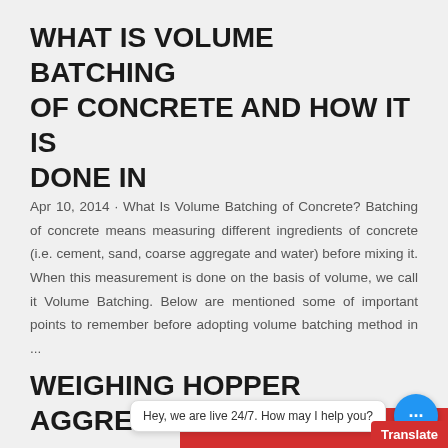WHAT IS VOLUME BATCHING OF CONCRETE AND HOW IT IS DONE IN
Apr 10, 2014 · What Is Volume Batching of Concrete? Batching of concrete means measuring different ingredients of concrete (i.e. cement, sand, coarse aggregate and water) before mixing it. When this measurement is done on the basis of volume, we call it Volume Batching. Below are mentioned some of important points to remember before adopting volume batching method in ...
WEIGHING HOPPER AGGREGATE BATCHER IN